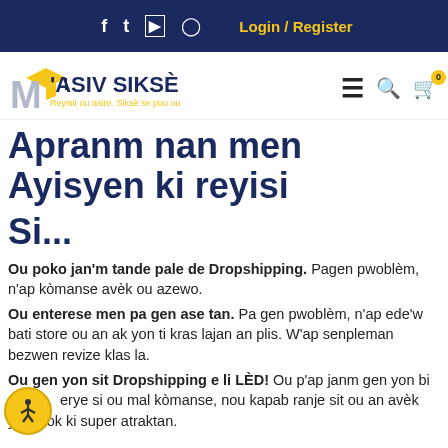f  tw  yt  ig   Login / Register
[Figure (logo): M'asiv Siksè logo with graduation cap and tagline 'Reyisit ou asire. Siksè se pou ou']
Apranm nan men Ayisyen ki reyisi
Si...
Ou poko jan'm tande pale de Dropshipping. Pagen pwoblèm, n'ap kòmanse avèk ou azewo.
Ou enterese men pa gen ase tan. Pa gen pwoblèm, n'ap ede'w bati store ou an ak yon ti kras lajan an plis. W'ap senpleman bezwen revize klas la.
Ou gen yon sit Dropshipping e li LÈD! Ou p'ap janm gen yon bize...erye si ou mal kòmanse, nou kapab ranje sit ou an avèk yon look ki super atraktan.